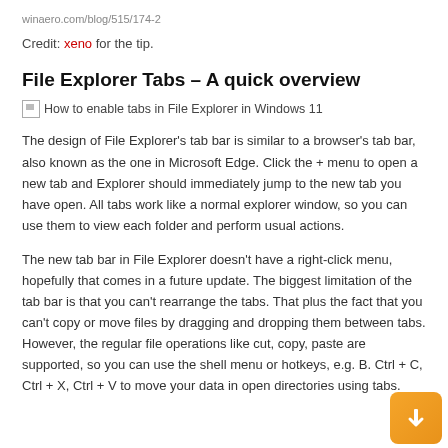winaero.com/blog/515/174-2
Credit: xeno for the tip.
File Explorer Tabs – A quick overview
[Figure (other): Broken image placeholder with alt text: How to enable tabs in File Explorer in Windows 11]
The design of File Explorer's tab bar is similar to a browser's tab bar, also known as the one in Microsoft Edge. Click the + menu to open a new tab and Explorer should immediately jump to the new tab you have open. All tabs work like a normal explorer window, so you can use them to view each folder and perform usual actions.
The new tab bar in File Explorer doesn't have a right-click menu, hopefully that comes in a future update. The biggest limitation of the tab bar is that you can't rearrange the tabs. That plus the fact that you can't copy or move files by dragging and dropping them between tabs. However, the regular file operations like cut, copy, paste are supported, so you can use the shell menu or hotkeys, e.g. B. Ctrl + C, Ctrl + X, Ctrl + V to move your data in open directories using tabs.